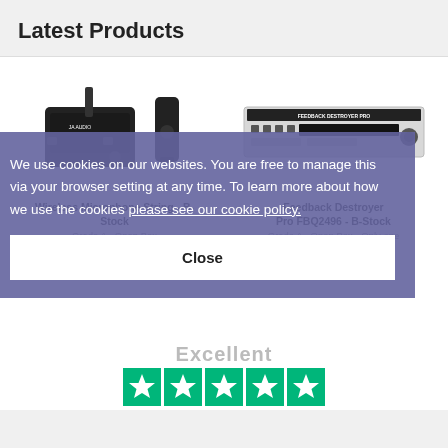Latest Products
[Figure (photo): JB Audio wireless microphone system - black receiver unit with antenna and transmitter dongle]
[Figure (photo): Feedback Destroyer Pro FBQ2496 rack unit - silver/black rack equipment]
Wireless Microphone String - B-Stock
Grade A - Open Box
£74.00  £66.60
Feedback Destroyer Pro FBQ2496 - B-Stock
Grade A - Open Box - Only one
£159.00  £143.10
We use cookies on our websites. You are free to manage this via your browser setting at any time. To learn more about how we use the cookies please see our cookie policy.
Close
Excellent